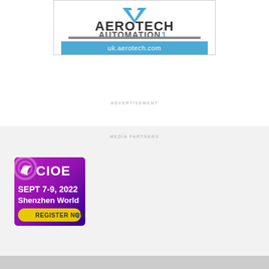[Figure (logo): Aerotech Automation1 logo with website url uk.aerotech.com in blue bar]
ADVERTISEMENT
MEDIA PARTNERS
[Figure (illustration): CIOE conference banner: purple/magenta gradient background, CIOE logo with swoosh, text SEPT 7-9, 2022 Shenzhen World, yellow REGISTER NOW button with cursor icon]